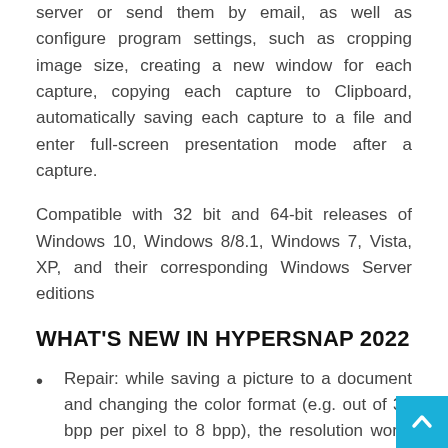server or send them by email, as well as configure program settings, such as cropping image size, creating a new window for each capture, copying each capture to Clipboard, automatically saving each capture to a file and enter full-screen presentation mode after a capture.
Compatible with 32 bit and 64-bit releases of Windows 10, Windows 8/8.1, Windows 7, Vista, XP, and their corresponding Windows Server editions
WHAT'S NEW IN HYPERSNAP 2022
Repair: while saving a picture to a document and changing the color format (e.g. out of 32 bpp per pixel to 8 bpp), the resolution worth wasn't preserved.